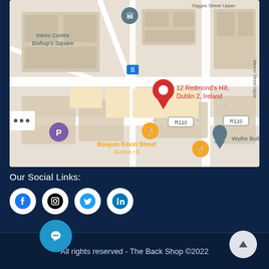[Figure (map): Google Maps screenshot showing 12 Redmond's Hill, Dublin 2, Ireland with nearby landmarks including Intreo Centre Bishop's Square, Boojum Kevin Street Burritos, Wythe Building, and road R110]
Our Social Links:
[Figure (infographic): Row of four white circle social media icons: Facebook, Instagram, Twitter, LinkedIn]
All rights reserved - The Back Shop ©2022